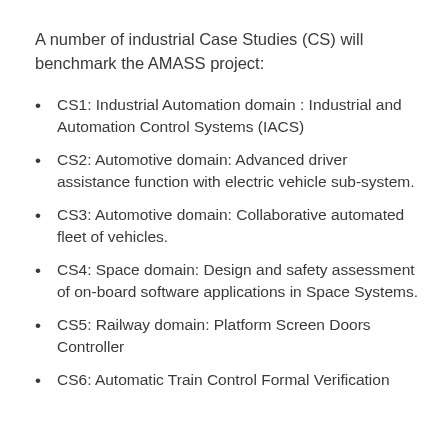A number of industrial Case Studies (CS) will benchmark the AMASS project:
CS1: Industrial Automation domain : Industrial and Automation Control Systems (IACS)
CS2: Automotive domain: Advanced driver assistance function with electric vehicle sub-system.
CS3: Automotive domain: Collaborative automated fleet of vehicles.
CS4: Space domain: Design and safety assessment of on-board software applications in Space Systems.
CS5: Railway domain: Platform Screen Doors Controller
CS6: Automatic Train Control Formal Verification